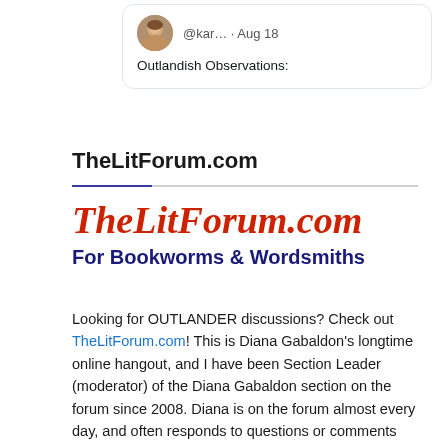[Figure (screenshot): Tweet card with avatar photo, username @kar... and date Aug 18, and text 'Outlandish Observations:']
TheLitForum.com
[Figure (logo): TheLitForum.com logo in red italic script with subtitle 'For Bookworms & Wordsmiths' in dark blue bold]
Looking for OUTLANDER discussions? Check out TheLitForum.com! This is Diana Gabaldon's longtime online hangout, and I have been Section Leader (moderator) of the Diana Gabaldon section on the forum since 2008. Diana is on the forum almost every day, and often responds to questions or comments from forum members, sometimes in detail. You have to register in order to read or post on the forum,